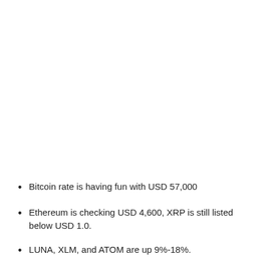Bitcoin rate is having fun with USD 57,000
Ethereum is checking USD 4,600, XRP is still listed below USD 1.0.
LUNA, XLM, and ATOM are up 9%-18%.